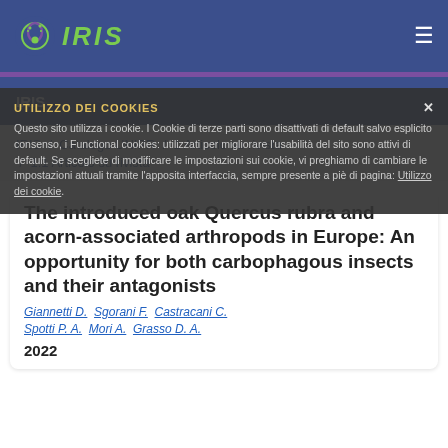IRIS
IRIS
IRIS / Catalogo UNIPR / 1 Articolo su rivista / 1.1 Articolo su rivista
The introduced oak Quercus rubra and acorn-associated arthropods in Europe: An opportunity for both carbophagous insects and their antagonists
Giannetti D.; Sgorani F.; Castracani C.; Spotti P. A.; Mori A.; Grasso D. A.
2022
UTILIZZO DEI COOKIES
Questo sito utilizza i cookie. I Cookie di terze parti sono disattivati di default salvo esplicito consenso, i Functional cookies: utilizzati per migliorare l'usabilità del sito sono attivi di default. Se scegliete di modificare le impostazioni sui cookie, vi preghiamo di cambiare le impostazioni attuali tramite l'apposita interfaccia, sempre presente a piè di pagina: Utilizzo dei cookie.